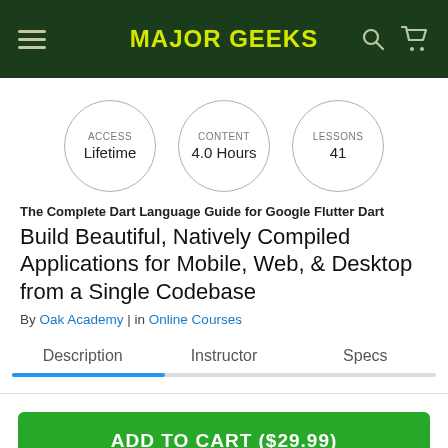MAJOR GEEKS
[Figure (infographic): Three circular badges: ACCESS Lifetime, CONTENT 4.0 Hours, LESSONS 41]
The Complete Dart Language Guide for Google Flutter Dart
Build Beautiful, Natively Compiled Applications for Mobile, Web, & Desktop from a Single Codebase
By Oak Academy | in Online Courses
Description   Instructor   Specs
ADD TO CART ($29.99)